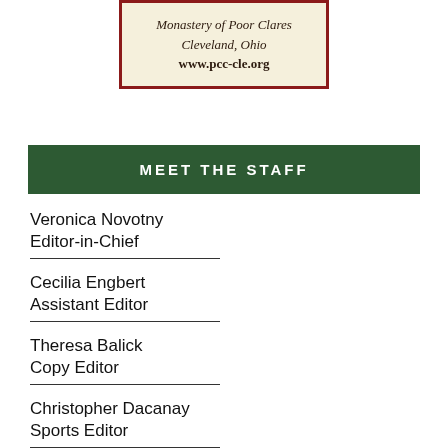[Figure (other): Advertisement box with dark red border and cream background. Text reads: Monastery of Poor Clares, Cleveland, Ohio, www.pcc-cle.org]
MEET THE STAFF
Veronica Novotny
Editor-in-Chief
Cecilia Engbert
Assistant Editor
Theresa Balick
Copy Editor
Christopher Dacanay
Sports Editor